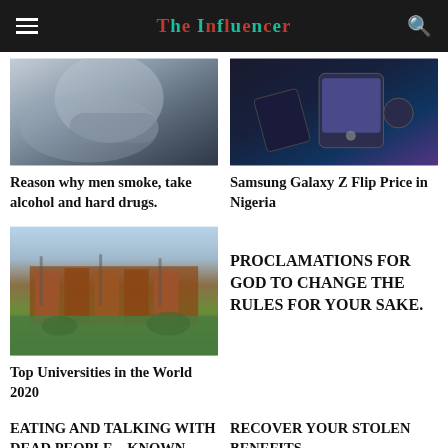The Influencer
[Figure (photo): Person smoking, blurred close-up image]
Reason why men smoke, take alcohol and hard drugs.
[Figure (photo): Samsung Galaxy Z Flip phone and accessories on dark background]
Samsung Galaxy Z Flip Price in Nigeria
[Figure (photo): University campus building with students on lawn and a bicycle]
Top Universities in the World 2020
PROCLAMATIONS FOR GOD TO CHANGE THE RULES FOR YOUR SAKE.
EATING AND TALKING WITH DEAD PEOPLE – KNOWN AND UNKNOWN
RECOVER YOUR STOLEN BENEFITS